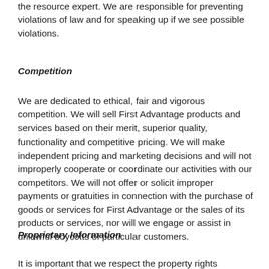the resource expert. We are responsible for preventing violations of law and for speaking up if we see possible violations.
Competition
We are dedicated to ethical, fair and vigorous competition. We will sell First Advantage products and services based on their merit, superior quality, functionality and competitive pricing. We will make independent pricing and marketing decisions and will not improperly cooperate or coordinate our activities with our competitors. We will not offer or solicit improper payments or gratuities in connection with the purchase of goods or services for First Advantage or the sales of its products or services, nor will we engage or assist in unlawful boycotts of particular customers.
Proprietary Information
It is important that we respect the property rights